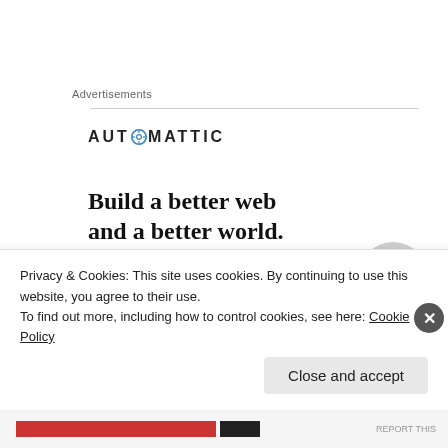Advertisements
[Figure (logo): Automattic logo — uppercase sans-serif wordmark with a compass-style icon replacing the letter O]
[Figure (illustration): Automattic advertisement: 'Build a better web and a better world.' with a blue CTA button and partial image of a person wearing glasses]
As we drove closer to our destination of Lake Tahoe the
Privacy & Cookies: This site uses cookies. By continuing to use this website, you agree to their use.
To find out more, including how to control cookies, see here: Cookie Policy
Close and accept